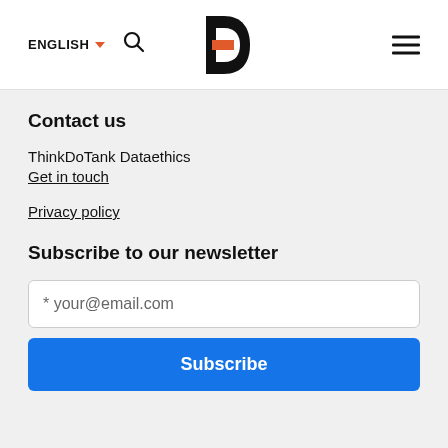ENGLISH  [search icon]  [logo]  [hamburger menu]
Contact us
ThinkDoTank Dataethics
Get in touch
Privacy policy
Subscribe to our newsletter
* your@email.com
Subscribe